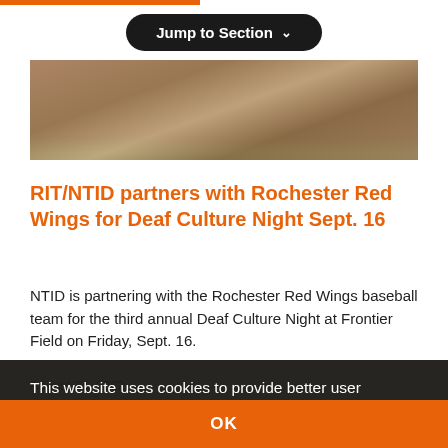Jump to Section
[Figure (photo): Baseball field photo showing dirt infield and green grass strip at bottom, with players visible in background]
RIT/NTID partners with Rochester Red Wings for Deaf Culture Night Sept. 16
NTID is partnering with the Rochester Red Wings baseball team for the third annual Deaf Culture Night at Frontier Field on Friday, Sept. 16.
August 24, 2022
This website uses cookies to provide better user experience and functionality. You can control and configure cookies in your web browser. Cookie Statement | How to Disable Cookies
OK